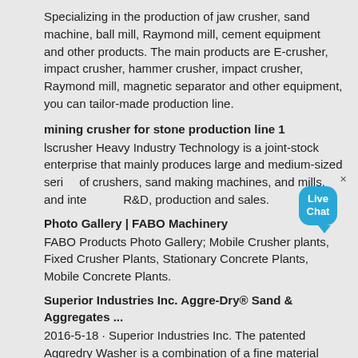Specializing in the production of jaw crusher, sand machine, ball mill, Raymond mill, cement equipment and other products. The main products are E-crusher, impact crusher, hammer crusher, impact crusher, Raymond mill, magnetic separator and other equipment, you can tailor-made production line.
mining crusher for stone production line 1
lscrusher Heavy Industry Technology is a joint-stock enterprise that mainly produces large and medium-sized series of crushers, sand making machines, and mills, and integrates R&D, production and sales.
Photo Gallery | FABO Machinery
FABO Products Photo Gallery; Mobile Crusher plants, Fixed Crusher Plants, Stationary Concrete Plants, Mobile Concrete Plants.
Superior Industries Inc. Aggre-Dry® Sand & Aggregates ...
2016-5-18 · Superior Industries Inc. The patented Aggredry Washer is a combination of a fine material washer and a dewatering screen in a single machine. Sand specs are becoming more precise, making washing aggregate more necessary than ever. …
Begagnade mobila krossar och mobila krossverk säljes och ...
Det fina med Mascus" webbplats är att vem som helst kan köpa och sälja begagnade mobila krossar. Handlat b...